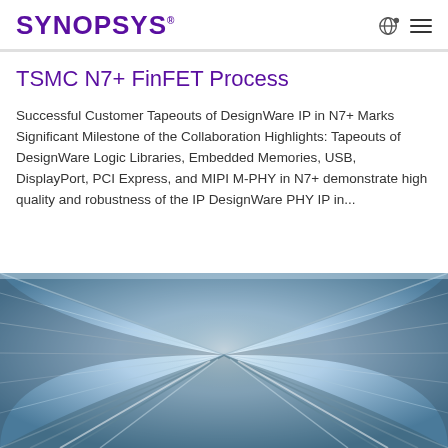SYNOPSYS®
TSMC N7+ FinFET Process
Successful Customer Tapeouts of DesignWare IP in N7+ Marks Significant Milestone of the Collaboration Highlights: Tapeouts of DesignWare Logic Libraries, Embedded Memories, USB, DisplayPort, PCI Express, and MIPI M-PHY in N7+ demonstrate high quality and robustness of the IP DesignWare PHY IP in...
[Figure (photo): Motion-blur photograph of a tunnel or tube-like corridor with white and blue light streaks converging to a vanishing point, suggesting high speed or technology.]